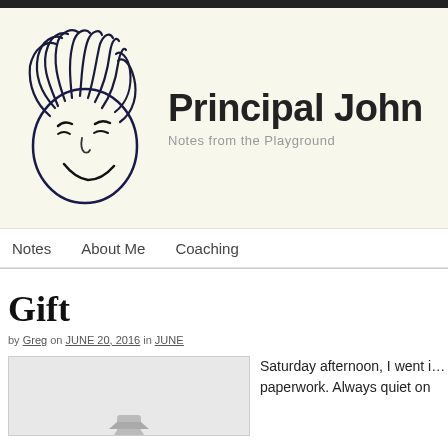[Figure (logo): Hand-drawn cartoon smiley face with messy hair in black ink, used as blog logo]
Principal John
Notes from the Playground
Notes   About Me   Coaching
Gift
by Greg on JUNE 20, 2016 in JUNE
[Figure (photo): Partial photo of a person visible at bottom of image box]
Saturday afternoon, I went i... paperwork. Always quiet on